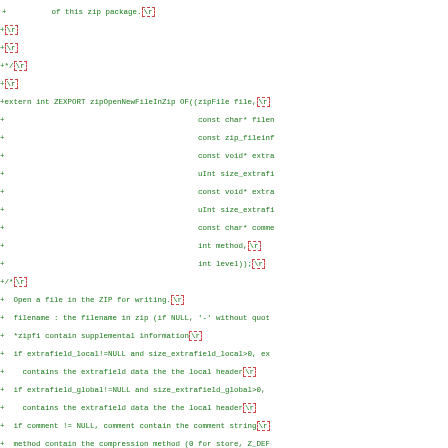Source code diff showing C header file additions for zip library functions including zipOpenNewFileInZip and zipWriteInFileInZip declarations and documentation comments.